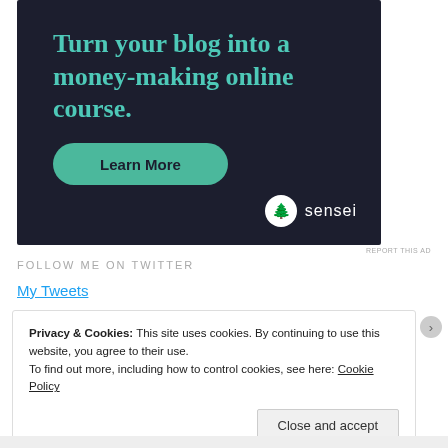[Figure (infographic): Advertisement banner with dark navy background. Large teal headline text reads 'Turn your blog into a money-making online course.' A teal rounded button says 'Learn More'. Bottom right shows Sensei logo (tree icon in white circle) and 'sensei' text.]
REPORT THIS AD
FOLLOW ME ON TWITTER
My Tweets
Privacy & Cookies: This site uses cookies. By continuing to use this website, you agree to their use.
To find out more, including how to control cookies, see here: Cookie Policy